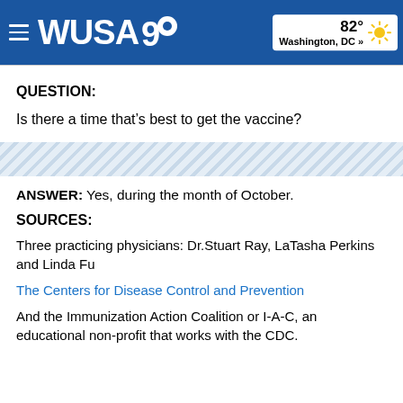WUSA9 — 82° Washington, DC »
QUESTION:
Is there a time that's best to get the vaccine?
ANSWER: Yes, during the month of October.
SOURCES:
Three practicing physicians: Dr.Stuart Ray, LaTasha Perkins and Linda Fu
The Centers for Disease Control and Prevention
And the Immunization Action Coalition or I-A-C, an educational non-profit that works with the CDC.